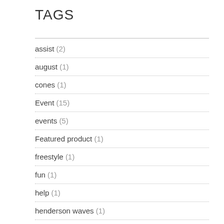TAGS
assist (2)
august (1)
cones (1)
Event (15)
events (5)
Featured product (1)
freestyle (1)
fun (1)
help (1)
henderson waves (1)
july (1)